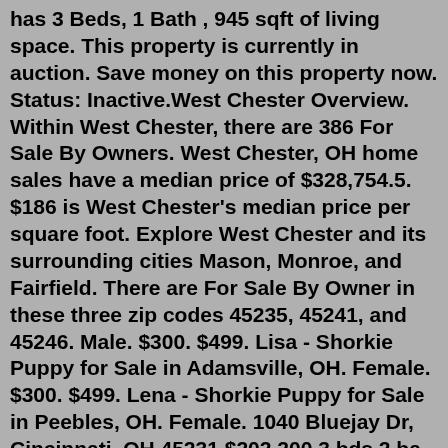has 3 Beds, 1 Bath , 945 sqft of living space. This property is currently in auction. Save money on this property now. Status: Inactive.West Chester Overview. Within West Chester, there are 386 For Sale By Owners. West Chester, OH home sales have a median price of $328,754.5. $186 is West Chester's median price per square foot. Explore West Chester and its surrounding cities Mason, Monroe, and Fairfield. There are For Sale By Owner in these three zip codes 45235, 45241, and 45246. Male. $300. $499. Lisa - Shorkie Puppy for Sale in Adamsville, OH. Female. $300. $499. Lena - Shorkie Puppy for Sale in Peebles, OH. Female. 1040 Bluejay Dr, Cincinnati, OH 45231 $202,200 3 bds 2 ba 1,540 sqft - House for sale 3D Tour Owned by 2388 Roosevelt Ave, Cincinnati, OH 45231 COMEY & SHEPHERD $129,000 3 bds 1 ba 960 sqft - House for sale 80 days on Zillow 2225 Woodacre Dr, Cincinnati, OH 45231 HUFF REALTY $250,000 4 bds 4 ba 2,031 sqft - House for sale 156 days on ZillowHeat is provided by a gas boiler and a more more heat center and truck